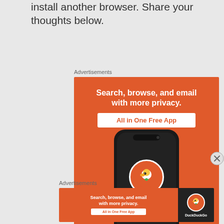install another browser. Share your thoughts below.
Advertisements
[Figure (illustration): DuckDuckGo advertisement banner: orange background with white bold text 'Search, browse, and email with more privacy.' and button 'All in One Free App', showing a smartphone with DuckDuckGo logo and 'DuckDuckGo' text at the bottom.]
Advertisements
[Figure (illustration): DuckDuckGo advertisement banner (smaller): orange background with white bold text 'Search, browse, and email with more privacy.' and button 'All in One Free App', with a dark section on the right showing DuckDuckGo duck logo and 'DuckDuckGo' text.]